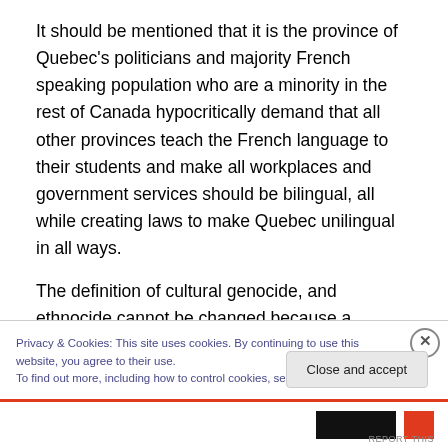It should be mentioned that it is the province of Quebec's politicians and majority French speaking population who are a minority in the rest of Canada hypocritically demand that all other provinces teach the French language to their students and make all workplaces and government services should be bilingual, all while creating laws to make Quebec unilingual in all ways.
The definition of cultural genocide, and ethnocide cannot be changed because a person, province or nation finds
Privacy & Cookies: This site uses cookies. By continuing to use this website, you agree to their use.
To find out more, including how to control cookies, see here: Cookie Policy
Close and accept